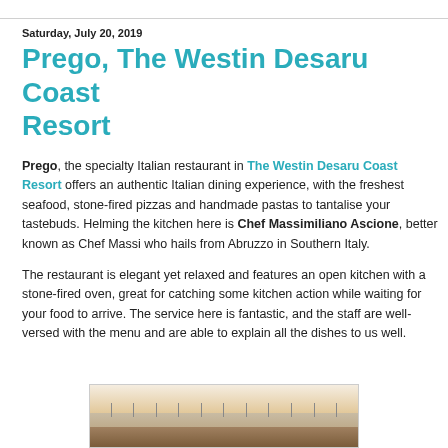Saturday, July 20, 2019
Prego, The Westin Desaru Coast Resort
Prego, the specialty Italian restaurant in The Westin Desaru Coast Resort offers an authentic Italian dining experience, with the freshest seafood, stone-fired pizzas and handmade pastas to tantalise your tastebuds. Helming the kitchen here is Chef Massimiliano Ascione, better known as Chef Massi who hails from Abruzzo in Southern Italy.
The restaurant is elegant yet relaxed and features an open kitchen with a stone-fired oven, great for catching some kitchen action while waiting for your food to arrive. The service here is fantastic, and the staff are well-versed with the menu and are able to explain all the dishes to us well.
[Figure (photo): Interior of Prego restaurant at The Westin Desaru Coast Resort showing dining area with ceiling lights and wooden decor]